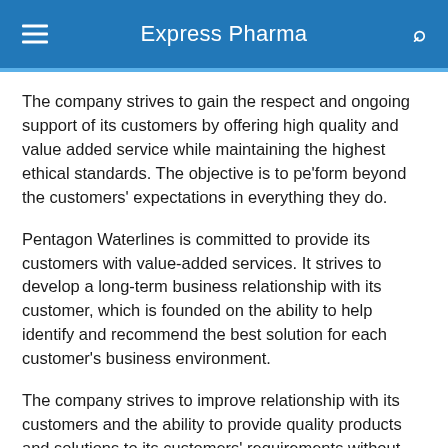Express Pharma
The company strives to gain the respect and ongoing support of its customers by offering high quality and value added service while maintaining the highest ethical standards. The objective is to pe'form beyond the customers' expectations in everything they do.
Pentagon Waterlines is committed to provide its customers with value-added services. It strives to develop a long-term business relationship with its customer, which is founded on the ability to help identify and recommend the best solution for each customer's business environment.
The company strives to improve relationship with its customers and the ability to provide quality products and solutions to its customers' requirements without losing focus on 'Right-on-Time' delivery system.
The company caters to the logistic requirements of a large